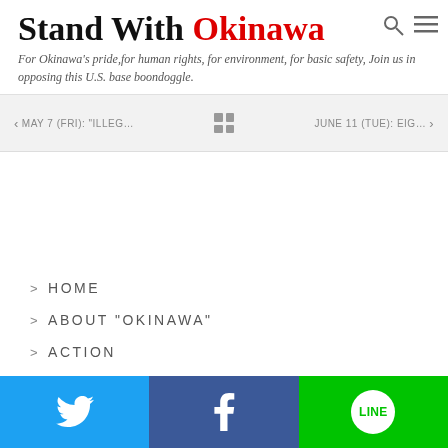Stand With Okinawa
For Okinawa's pride,for human rights, for environment, for basic safety, Join us in opposing this U.S. base boondoggle.
< MAY 7 (FRI): "ILLEG... JUNE 11 (TUE): EIG... >
> HOME
> ABOUT "OKINAWA"
> ACTION
> WEBMASTER
[Figure (infographic): Social media footer bar with Twitter (blue), Facebook (dark blue), and LINE (green) icons]